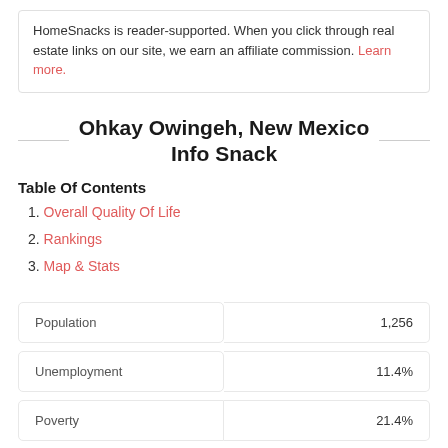HomeSnacks is reader-supported. When you click through real estate links on our site, we earn an affiliate commission. Learn more.
Ohkay Owingeh, New Mexico Info Snack
Table Of Contents
1. Overall Quality Of Life
2. Rankings
3. Map & Stats
|  |  |
| --- | --- |
| Population | 1,256 |
| Unemployment | 11.4% |
| Poverty | 21.4% |